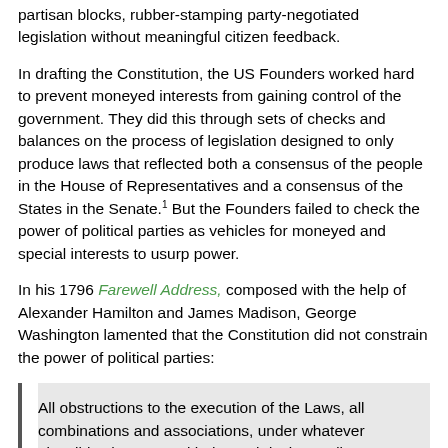partisan blocks, rubber-stamping party-negotiated legislation without meaningful citizen feedback.
In drafting the Constitution, the US Founders worked hard to prevent moneyed interests from gaining control of the government. They did this through sets of checks and balances on the process of legislation designed to only produce laws that reflected both a consensus of the people in the House of Representatives and a consensus of the States in the Senate.1 But the Founders failed to check the power of political parties as vehicles for moneyed and special interests to usurp power.
In his 1796 Farewell Address, composed with the help of Alexander Hamilton and James Madison, George Washington lamented that the Constitution did not constrain the power of political parties:
All obstructions to the execution of the Laws, all combinations and associations, under whatever plausible character, with the real design to direct, control, counteract, or awe the regular deliberation and action of the constituted authorities, are destructive of this fundamental principle, and of fatal...